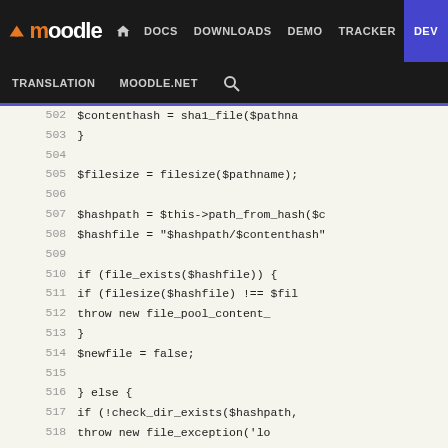moodle | DOCS  DOWNLOADS  DEMO  TRACKER  DEV
TRANSLATION  MOODLE.NET  🔍
[Figure (screenshot): Moodle developer documentation website showing PHP source code viewer with line numbers 502-528, displaying file storage code including filesize, hashpath, hashfile, file_exists checks, fopen, and fread operations.]